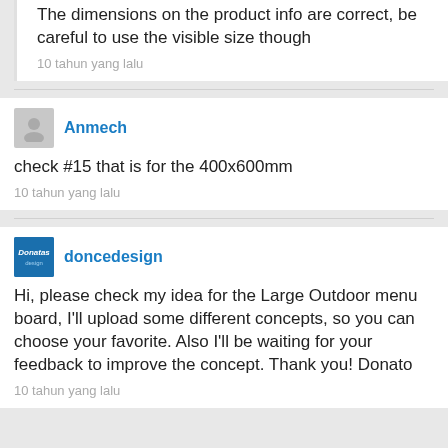The dimensions on the product info are correct, be careful to use the visible size though
10 tahun yang lalu
Anmech
check #15 that is for the 400x600mm
10 tahun yang lalu
doncedesign
Hi, please check my idea for the Large Outdoor menu board, I'll upload some different concepts, so you can choose your favorite. Also I'll be waiting for your feedback to improve the concept. Thank you! Donato
10 tahun yang lalu